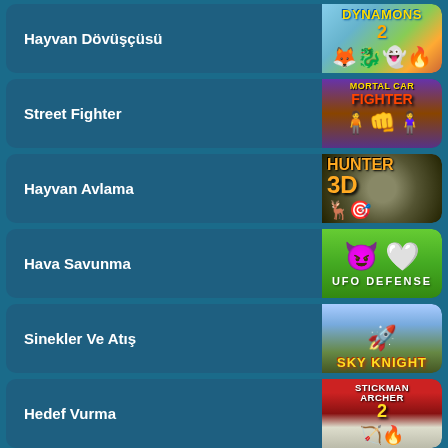Hayvan Dövüşçüsü
Street Fighter
Hayvan Avlama
Hava Savunma
Sinekler Ve Atış
Hedef Vurma